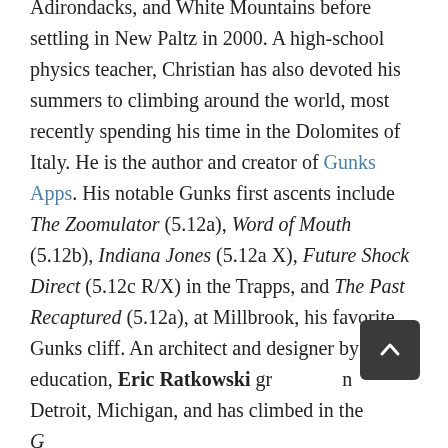Adirondacks, and White Mountains before settling in New Paltz in 2000. A high-school physics teacher, Christian has also devoted his summers to climbing around the world, most recently spending his time in the Dolomites of Italy. He is the author and creator of Gunks Apps. His notable Gunks first ascents include The Zoomulator (5.12a), Word of Mouth (5.12b), Indiana Jones (5.12a X), Future Shock Direct (5.12c R/X) in the Trapps, and The Past Recaptured (5.12a), at Millbrook, his favorite Gunks cliff. An architect and designer by education, Eric Ratkowski grew up in Detroit, Michigan, and has climbed in the Gunks for 14 years, climbing, of course, all